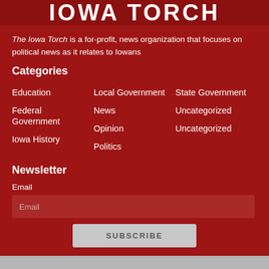IOWA TORCH
The Iowa Torch is a for-profit, news organization that focuses on political news as it relates to Iowans
Categories
Education
Local Government
State Government
Federal Government
News
Uncategorized
Iowa History
Opinion
Uncategorized
Politics
Newsletter
Email
SUBSCRIBE